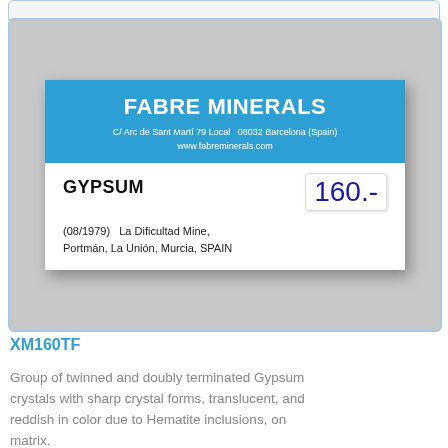[Figure (photo): A Fabre Minerals label card for Gypsum specimen. The label has a blue header with company name and address, and white lower section showing mineral name GYPSUM, price 160, and locality (08/1979) La Dificultad Mine, Portmán, La Unión, Murcia, SPAIN]
XM160TF
Group of twinned and doubly terminated Gypsum crystals with sharp crystal forms, translucent, and reddish in color due to Hematite inclusions, on matrix.
The specimen comes from the Alain Martaud